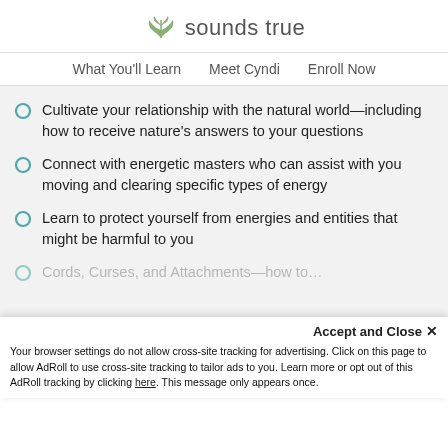sounds true
What You'll Learn | Meet Cyndi | Enroll Now
Cultivate your relationship with the natural world—including how to receive nature's answers to your questions
Connect with energetic masters who can assist with you moving and clearing specific types of energy
Learn to protect yourself from energies and entities that might be harmful to you
Cords, Curses, and Attachments—how to…
Accept and Close ✕ Your browser settings do not allow cross-site tracking for advertising. Click on this page to allow AdRoll to use cross-site tracking to tailor ads to you. Learn more or opt out of this AdRoll tracking by clicking here. This message only appears once.